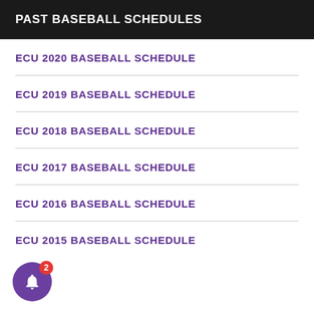PAST BASEBALL SCHEDULES
ECU 2020 BASEBALL SCHEDULE
ECU 2019 BASEBALL SCHEDULE
ECU 2018 BASEBALL SCHEDULE
ECU 2017 BASEBALL SCHEDULE
ECU 2016 BASEBALL SCHEDULE
ECU 2015 BASEBALL SCHEDULE